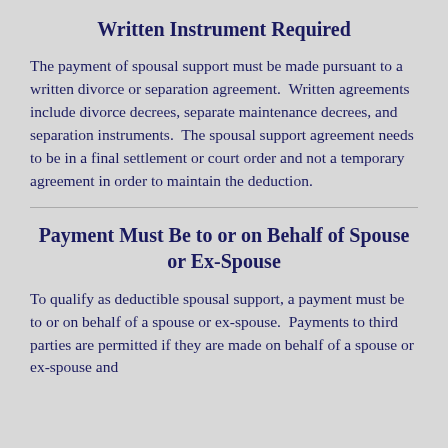Written Instrument Required
The payment of spousal support must be made pursuant to a written divorce or separation agreement.  Written agreements include divorce decrees, separate maintenance decrees, and separation instruments.  The spousal support agreement needs to be in a final settlement or court order and not a temporary agreement in order to maintain the deduction.
Payment Must Be to or on Behalf of Spouse or Ex-Spouse
To qualify as deductible spousal support, a payment must be to or on behalf of a spouse or ex-spouse.  Payments to third parties are permitted if they are made on behalf of a spouse or ex-spouse and